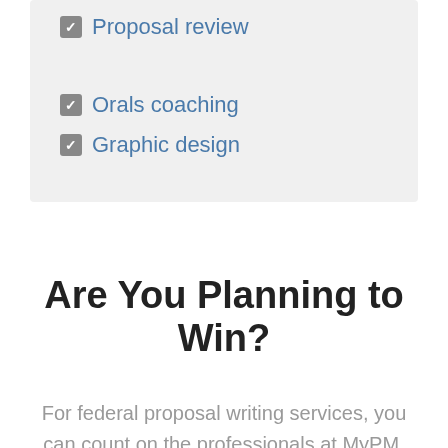Proposal review
Orals coaching
Graphic design
Are You Planning to Win?
For federal proposal writing services, you can count on the professionals at MyPM. Members of our proposal team bring over 20 years of experience in the proposal industry and we have each led teams to high-value wins. Let's discuss your plans for